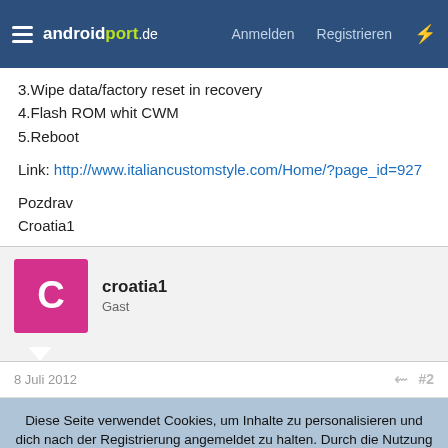androidport.de — Anmelden Registrieren
3.Wipe data/factory reset in recovery
4.Flash ROM whit CWM
5.Reboot
Link: http://www.italiancustomstyle.com/Home/?page_id=927
Pozdrav
Croatia1
croatia1
Gast
8 Juli 2012  #2
Diese Seite verwendet Cookies, um Inhalte zu personalisieren und dich nach der Registrierung angemeldet zu halten. Durch die Nutzung unserer Webseite erklärst du dich damit einverstanden.